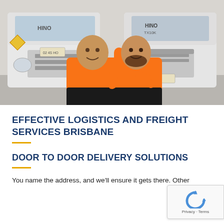[Figure (photo): Two men in orange and black polo shirts smiling and posing in front of two white Hino trucks inside a warehouse/depot. The man on the left has his arm around the man on the right who has his arms crossed.]
EFFECTIVE LOGISTICS AND FREIGHT SERVICES BRISBANE
DOOR TO DOOR DELIVERY SOLUTIONS
You name the address, and we'll ensure it gets there. Other